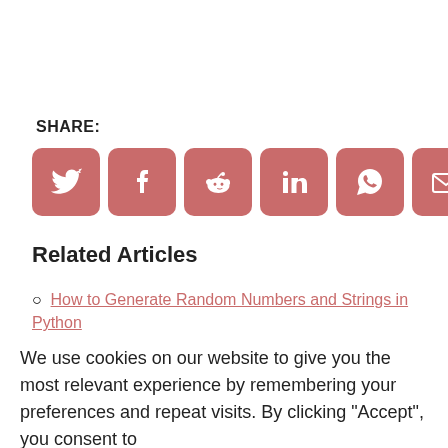SHARE:
[Figure (other): Row of seven social media share icon buttons (Twitter, Facebook, Reddit, LinkedIn, WhatsApp, Email, Link) on rounded red/salmon square backgrounds]
Related Articles
How to Generate Random Numbers and Strings in Python
We use cookies on our website to give you the most relevant experience by remembering your preferences and repeat visits. By clicking "Accept", you consent to